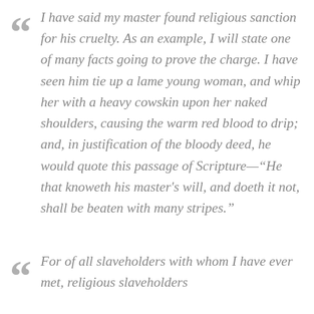I have said my master found religious sanction for his cruelty. As an example, I will state one of many facts going to prove the charge. I have seen him tie up a lame young woman, and whip her with a heavy cowskin upon her naked shoulders, causing the warm red blood to drip; and, in justification of the bloody deed, he would quote this passage of Scripture—"He that knoweth his master's will, and doeth it not, shall be beaten with many stripes."
For of all slaveholders with whom I have ever met, religious slaveholders